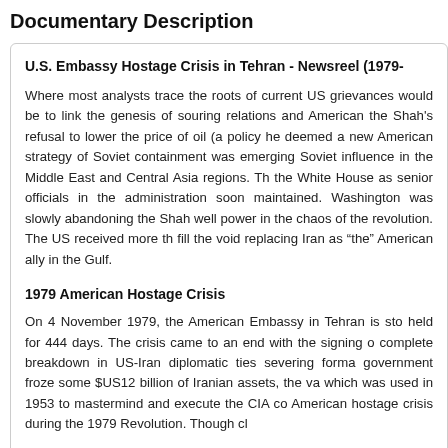Documentary Description
U.S. Embassy Hostage Crisis in Tehran - Newsreel (1979-
Where most analysts trace the roots of current US grievances would be to link the genesis of souring relations and American the Shah's refusal to lower the price of oil (a policy he deemed a new American strategy of Soviet containment was emerging Soviet influence in the Middle East and Central Asia regions. Th the White House as senior officials in the administration soon maintained. Washington was slowly abandoning the Shah well power in the chaos of the revolution. The US received more th fill the void replacing Iran as “the” American ally in the Gulf.
1979 American Hostage Crisis
On 4 November 1979, the American Embassy in Tehran is sto held for 444 days. The crisis came to an end with the signing o complete breakdown in US-Iran diplomatic ties severing forma government froze some $US12 billion of Iranian assets, the va which was used in 1953 to mastermind and execute the CIA co American hostage crisis during the 1979 Revolution. Though cl and then they’re about that it’s directly to the “the”